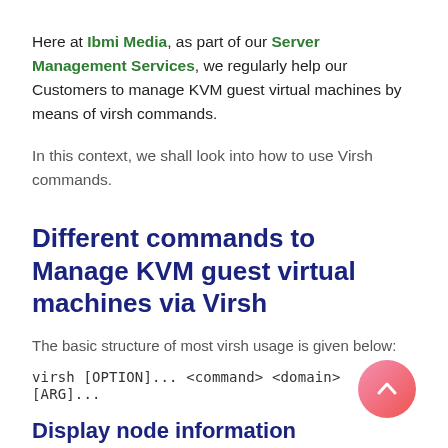Here at Ibmi Media, as part of our Server Management Services, we regularly help our Customers to manage KVM guest virtual machines by means of virsh commands.
In this context, we shall look into how to use Virsh commands.
Different commands to Manage KVM guest virtual machines via Virsh
The basic structure of most virsh usage is given below:
Display node information
To display the host node information and the machines